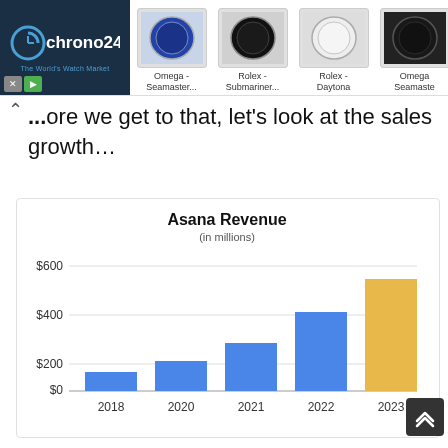[Figure (screenshot): Chrono24 advertisement banner showing watch marketplace with logo and watch images (Omega Seamaster, Rolex Submariner, Rolex Daytona, Omega Seamaster)]
...ore we get to that, let's look at the sales growth…
[Figure (bar-chart): Asana Revenue]